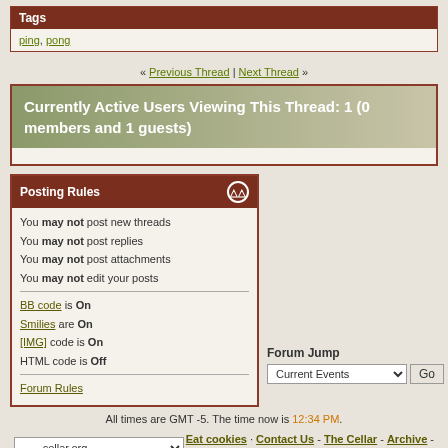Tags
ping, pong
« Previous Thread | Next Thread »
Currently Active Users Viewing This Thread: 1 (0 members and 1 guests)
Posting Rules
You may not post new threads
You may not post replies
You may not post attachments
You may not edit your posts
BB code is On
Smilies are On
[IMG] code is On
HTML code is Off
Forum Rules
Forum Jump
Current Events
All times are GMT -5. The time now is 12:34 PM.
---- cellar.org
Eat cookies · Contact Us - The Cellar - Archive - Top
Powered by: vBulletin Version 3.8.1
Copyright ©2000 - 2022, Jelsoft Enterprises Ltd.